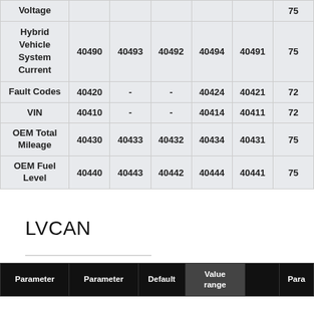| Parameter | Parameter | Default | Value range | Value | Para... |
| --- | --- | --- | --- | --- | --- |
| Voltage |  |  |  |  |  |
| Hybrid Vehicle System Current | 40490 | 40493 | 40492 | 40494 | 40491 | 75... |
| Fault Codes | 40420 | - | - | 40424 | 40421 | 72... |
| VIN | 40410 | - | - | 40414 | 40411 | 72... |
| OEM Total Mileage | 40430 | 40433 | 40432 | 40434 | 40431 | 75... |
| OEM Fuel Level | 40440 | 40443 | 40442 | 40444 | 40441 | 75... |
LVCAN
| Parameter | Parameter | Default | Value range |  | Para... |
| --- | --- | --- | --- | --- | --- |